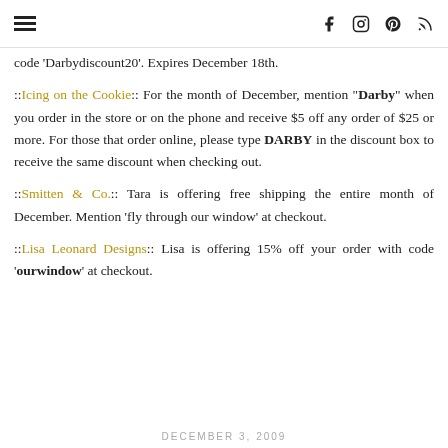Navigation and social icons header
code 'Darbydiscount20'. Expires December 18th.
::Icing on the Cookie:: For the month of December, mention "Darby" when you order in the store or on the phone and receive $5 off any order of $25 or more. For those that order online, please type DARBY in the discount box to receive the same discount when checking out.
::Smitten & Co.:: Tara is offering free shipping the entire month of December. Mention 'fly through our window' at checkout.
::Lisa Leonard Designs:: Lisa is offering 15% off your order with code 'ourwindow' at checkout.
DECEMBER 3, 2009